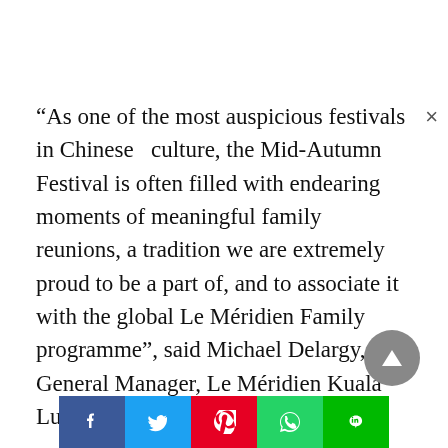“As one of the most auspicious festivals in Chinese culture, the Mid-Autumn Festival is often filled with endearing moments of meaningful family reunions, a tradition we are extremely proud to be a part of, and to associate it with the global Le Méridien Family programme”, said Michael Delargy, General Manager, Le Méridien Kuala Lumpur.

Both Le Méridien Kuala Lumpur’s traditional baked and snow skin mooncakes are priced at RM 30 per piece (except for the Red Bean Lotus Paste which is
[Figure (other): Social share buttons: Facebook, Twitter, Pinterest, WhatsApp, LINE]